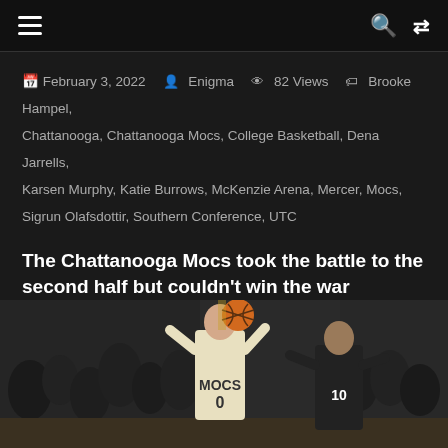☰  Q ⇌
February 3, 2022  Enigma  82 Views  Brooke Hampel, Chattanooga, Chattanooga Mocs, College Basketball, Dena Jarrells, Karsen Murphy, Katie Burrows, McKenzie Arena, Mercer, Mocs, Sigrun Olafsdottir, Southern Conference, UTC
The Chattanooga Mocs took the battle to the second half but couldn't win the war Thursday night at The McKenzie
See More
[Figure (photo): Basketball game photo showing a player in a Mocs #0 jersey holding a basketball, with another player #10 defending, crowd in the background.]